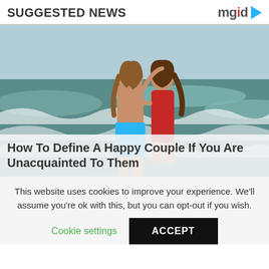SUGGESTED NEWS
[Figure (photo): Couple kissing on a beach with waves in the background; man in blue swim shorts, woman in red swimsuit]
How To Define A Happy Couple If You Are Unacquainted To Them
This website uses cookies to improve your experience. We'll assume you're ok with this, but you can opt-out if you wish.
Cookie settings   ACCEPT